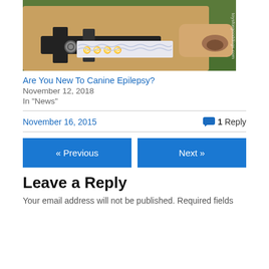[Figure (photo): A golden/tan dog wearing a black harness and a white bandana with blue ribbon/awareness symbols, close-up of the dog's face and neck against a green grass background. Watermark text 'toysforgooddogs.com' visible on right edge.]
Are You New To Canine Epilepsy?
November 12, 2018
In "News"
November 16, 2015
1 Reply
« Previous
Next »
Leave a Reply
Your email address will not be published. Required fields